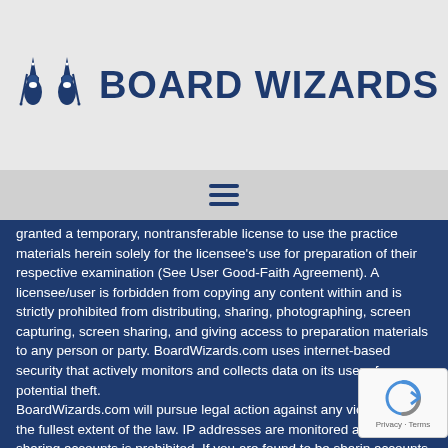[Figure (logo): Board Wizards logo with two wizard gnome figures in dark blue and bold text 'BOARD WIZARDS']
[Figure (other): Hamburger menu icon (three horizontal lines) in dark blue on gray background]
granted a temporary, nontransferable license to use the practice materials herein solely for the licensee's use for preparation of their respective examination (See User Good-Faith Agreement). A licensee/user is forbidden from copying any content within and is strictly prohibited from distributing, sharing, photographing, screen capturing, screen sharing, and giving access to preparation materials to any person or party. BoardWizards.com uses internet-based security that actively monitors and collects data on its users for potential theft. BoardWizards.com will pursue legal action against any violators to the fullest extent of the law. IP addresses are monitored and tracked, sharing accounts is prohibited. If you are found to be sharing accounts by BoardWizards, you forfeit account access immediately and no refunds will be issued. We reserve the right to terminate your license at any